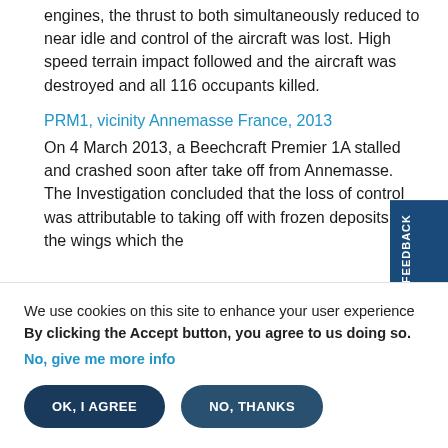engines, the thrust to both simultaneously reduced to near idle and control of the aircraft was lost. High speed terrain impact followed and the aircraft was destroyed and all 116 occupants killed.
PRM1, vicinity Annemasse France, 2013
On 4 March 2013, a Beechcraft Premier 1A stalled and crashed soon after take off from Annemasse. The Investigation concluded that the loss of control was attributable to taking off with frozen deposits on the wings which the
We use cookies on this site to enhance your user experience
By clicking the Accept button, you agree to us doing so.
No, give me more info
OK, I AGREE
NO, THANKS